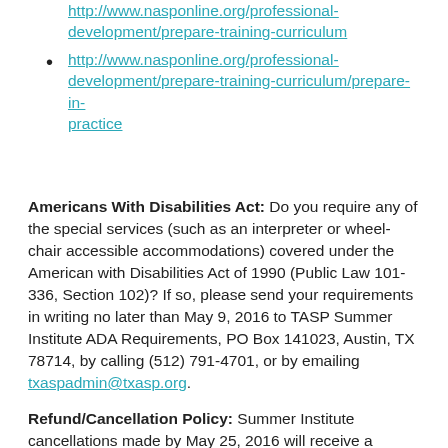http://www.nasponline.org/professional-development/prepare-training-curriculum
http://www.nasponline.org/professional-development/prepare-training-curriculum/prepare-in-practice
Americans With Disabilities Act: Do you require any of the special services (such as an interpreter or wheel-chair accessible accommodations) covered under the American with Disabilities Act of 1990 (Public Law 101-336, Section 102)? If so, please send your requirements in writing no later than May 9, 2016 to TASP Summer Institute ADA Requirements, PO Box 141023, Austin, TX 78714, by calling (512) 791-4701, or by emailing txaspadmin@txasp.org.
Refund/Cancellation Policy: Summer Institute cancellations made by May 25, 2016 will receive a refund LESS an administrative fee. AFTER the event. Cancellations made after